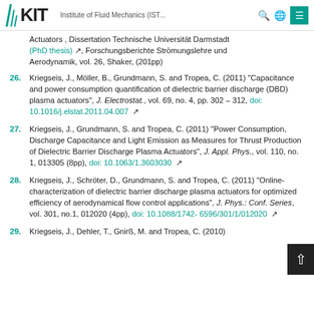KIT — Institute of Fluid Mechanics (IST...)
Actuators , Dissertation Technische Universität Darmstadt (PhD thesis), Forschungsberichte Strömungslehre und Aerodynamik, vol. 26, Shaker, (201pp)
26. Kriegseis, J., Möller, B., Grundmann, S. and Tropea, C. (2011) "Capacitance and power consumption quantification of dielectric barrier discharge (DBD) plasma actuators", J. Electrostat., vol. 69, no. 4, pp. 302 – 312, doi: 10.1016/j.elstat.2011.04.007
27. Kriegseis, J., Grundmann, S. and Tropea, C. (2011) "Power Consumption, Discharge Capacitance and Light Emission as Measures for Thrust Production of Dielectric Barrier Discharge Plasma Actuators", J. Appl. Phys., vol. 110, no. 1, 013305 (8pp), doi: 10.1063/1.3603030
28. Kriegseis, J., Schröter, D., Grundmann, S. and Tropea, C. (2011) "Online-characterization of dielectric barrier discharge plasma actuators for optimized efficiency of aerodynamical flow control applications", J. Phys.: Conf. Series, vol. 301, no.1, 012020 (4pp), doi: 10.1088/1742-6596/301/1/012020
29. Kriegseis, J., Dehler, T., Gnirß, M. and Tropea, C. (2010)